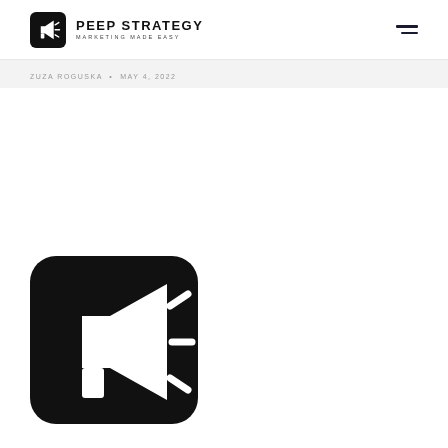PEEP STRATEGY — MARKETING MADE EASY
ZUZA ROGUSKA • MAY 4, 2022
[Figure (logo): Large black rounded-square icon with a white megaphone/bullhorn illustration]